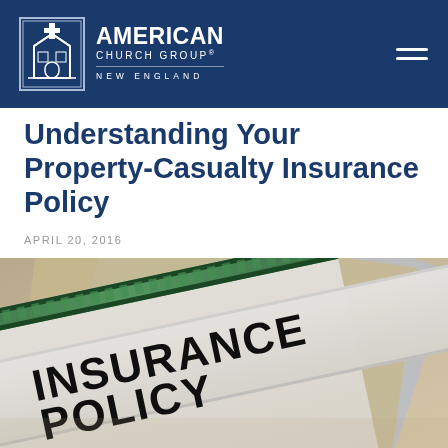American Church Group New England
Understanding Your Property-Casualty Insurance Policy
APRIL 20, 2016
[Figure (photo): Close-up photo of an insurance policy document with green decorative border, with the text INSURANCE POLICY printed in large black letters on a white ribbon/band across the document. Multiple documents fanned out in background.]